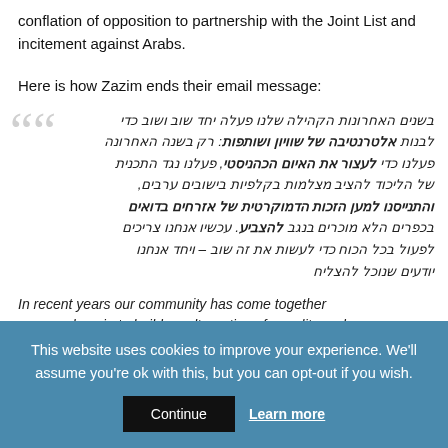conflation of opposition to partnership with the Joint List and incitement against Arabs.
Here is how Zazim ends their email message:
Hebrew blockquote text (RTL): In recent years our community has come together once and again to build an alternative of equality and partnership: only in the last year we acted to stop the Knesset threat, we acted against the Likud plan to present checkmarks in Arab localities, we campaigned for the democratic right of citizens who are not recognized in the villages in the Negev. Now we need to act with all our strength to do this again – and together we know how to succeed.
In recent years our community has come together once and again to build an alternative of equality and
This website uses cookies to improve your experience. We'll assume you're ok with this, but you can opt-out if you wish.
Continue | Learn more